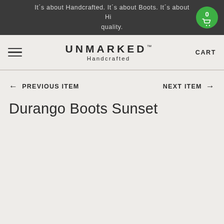It´s about Handcrafted. It´s about Boots. It´s about High quality.
[Figure (logo): UNMARKED Handcrafted brand logo with hamburger menu and CART label]
← PREVIOUS ITEM   NEXT ITEM →
Durango Boots Sunset